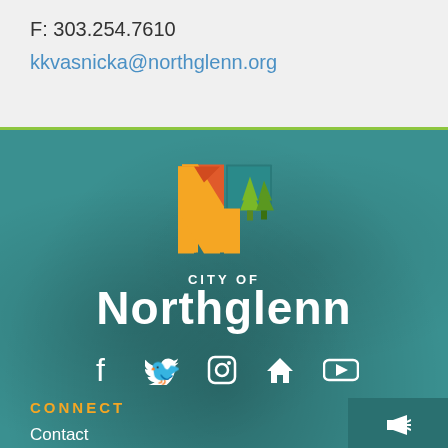F: 303.254.7610
kkvasnicka@northglenn.org
[Figure (logo): City of Northglenn logo with colorful N shape made of house/tree shapes, with text 'CITY OF Northglenn' below]
[Figure (infographic): Social media icons: Facebook, Twitter, Instagram, Home/Website, YouTube]
CONNECT
Contact
E-Newsletters
Access Northglenn
Report an Issue